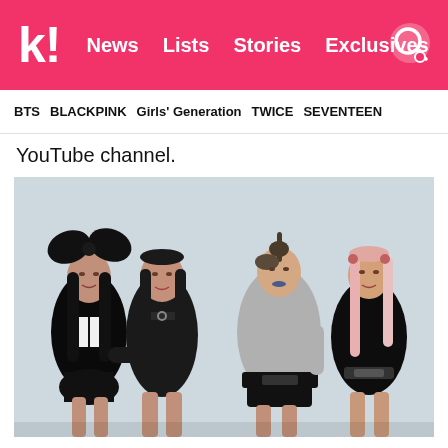k! News Lists Stories Exclusives
BTS  BLACKPINK  Girls' Generation  TWICE  SEVENTEEN
YouTube channel.
[Figure (photo): BLACKPINK group photo with four members in dark outfits against a light background]